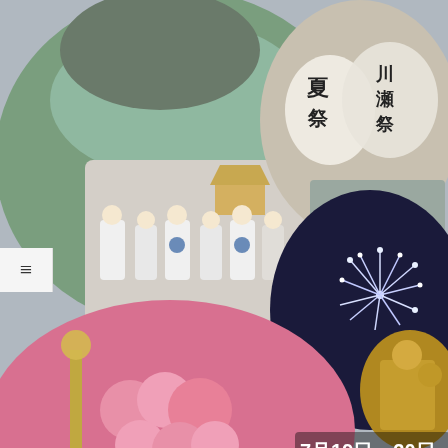[Figure (photo): Collage of Chichibu Kawase Festival images: priests in white robes carrying a portable shrine through water, festival fans with Japanese characters 夏祭 and 川瀬祭, fireworks, golden ornamental float, floral pink float with crowds, and text overlay reading 秩父川瀬祭 7月19日・20日]
The Illustrious Chichibu Kawase Festival and Fireworks
BY: L M N / ON: 2022-07-07 / IN: SUMMER IN SAITAMA / WITH: 0 COMMENTS
A truly energizing festival, the Chichibu Kawase Festival and Fireworks is one of the highlights of summer in Chichibu. They cancelled the festival in both 2020 and 2021, but in 2021 they had a mini surprise fireworks on